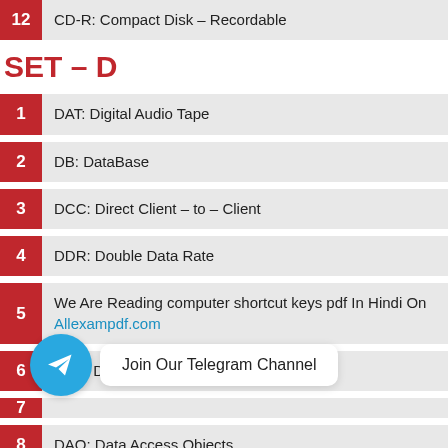12  CD-R: Compact Disk – Recordable
SET – D
1  DAT: Digital Audio Tape
2  DB: DataBase
3  DCC: Direct Client – to – Client
4  DDR: Double Data Rate
5  We Are Reading computer shortcut keys pdf In Hindi On Allexampdf.com
6  DES: Data Encryption Standard
7  (Join Our Telegram Channel)
8  DAO: Data Access Objects